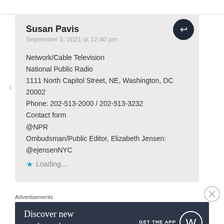Susan Pavis
September 5, 2021 at 12:40 pm
Network/Cable Television
National Public Radio
1111 North Capitol Street, NE, Washington, DC 20002
Phone: 202-513-2000 / 202-513-3232
Contact form
@NPR
Ombudsman/Public Editor, Elizabeth Jensen:
@ejensenNYC
★ Loading...
Advertisements
Discover new reads on the go.   GET THE APP